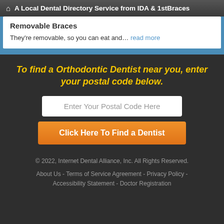A Local Dental Directory Service from IDA & 1stBraces
Removable Braces
They're removable, so you can eat and… read more
To find a Orthodontic Dentist near you, enter your postal code below.
Enter Your Postal Code Here
Click Here To Find a Dentist
© 2022, Internet Dental Alliance, Inc. All Rights Reserved.
About Us - Terms of Service Agreement - Privacy Policy - Accessibility Statement - Doctor Registration